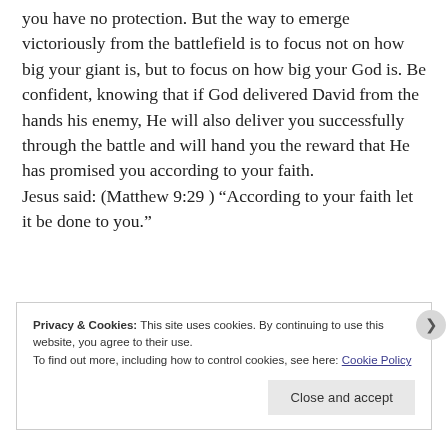you have no protection. But the way to emerge victoriously from the battlefield is to focus not on how big your giant is, but to focus on how big your God is. Be confident, knowing that if God delivered David from the hands his enemy, He will also deliver you successfully through the battle and will hand you the reward that He has promised you according to your faith.
Jesus said: (Matthew 9:29 ) “According to your faith let it be done to you.”
Privacy & Cookies: This site uses cookies. By continuing to use this website, you agree to their use.
To find out more, including how to control cookies, see here: Cookie Policy